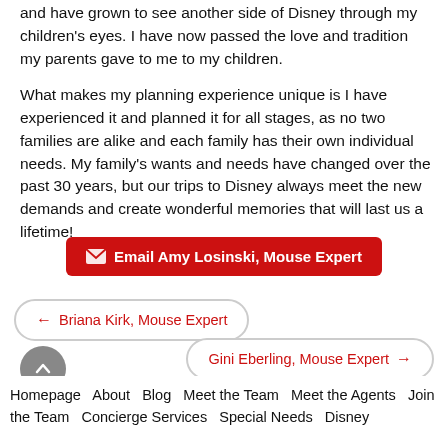and have grown to see another side of Disney through my children's eyes.  I have now passed the love and tradition my parents gave to me to my children.

What makes my planning experience unique is I have experienced it and planned it for all stages, as no two families are alike and each family has their own individual needs.  My family's wants and needs have changed over the past 30 years, but our trips to Disney always meet the new demands and create wonderful memories that will last us a lifetime!
✉ Email Amy Losinski, Mouse Expert
← Briana Kirk, Mouse Expert
Gini Eberling, Mouse Expert →
Homepage  About  Blog  Meet the Team  Meet the Agents  Join the Team  Concierge Services  Special Needs  Disney